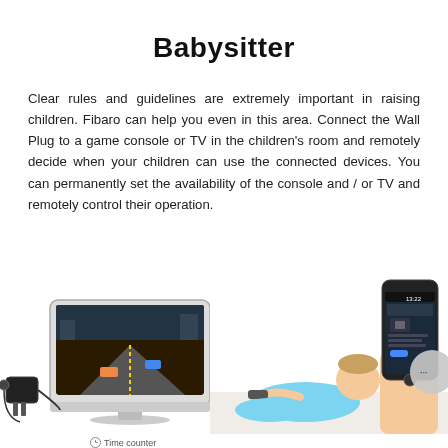Babysitter
Clear rules and guidelines are extremely important in raising children. Fibaro can help you even in this area. Connect the Wall Plug to a game console or TV in the children's room and remotely decide when your children can use the connected devices. You can permanently set the availability of the console and / or TV and remotely control their operation.
[Figure (photo): Left: a flat-screen TV showing a racing game with a small black external device (Wall Plug) connected nearby. Right: a child lying on the floor with a remote control, and a hand holding a smartphone displaying a Fibaro app interface with a circular gray button showing ellipsis (...)]
Time counter